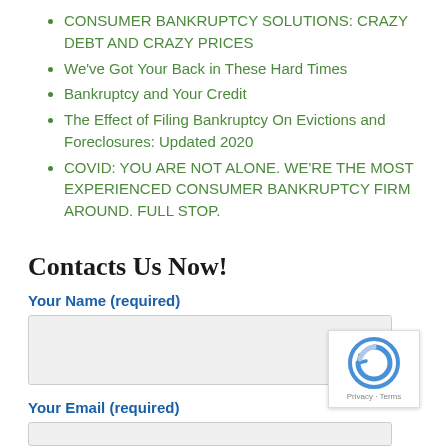CONSUMER BANKRUPTCY SOLUTIONS: CRAZY DEBT AND CRAZY PRICES
We've Got Your Back in These Hard Times
Bankruptcy and Your Credit
The Effect of Filing Bankruptcy On Evictions and Foreclosures: Updated 2020
COVID: YOU ARE NOT ALONE. WE'RE THE MOST EXPERIENCED CONSUMER BANKRUPTCY FIRM AROUND. FULL STOP.
Contacts Us Now!
Your Name (required)
Your Email (required)